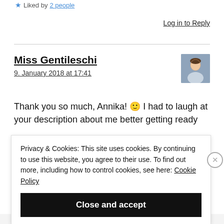★ Liked by 2 people
Log in to Reply
Miss Gentileschi
9. January 2018 at 17:41
[Figure (photo): Profile photo of Miss Gentileschi, a woman with hair up]
Thank you so much, Annika! 🙂 I had to laugh at your description about me better getting ready
Privacy & Cookies: This site uses cookies. By continuing to use this website, you agree to their use. To find out more, including how to control cookies, see here: Cookie Policy
Close and accept